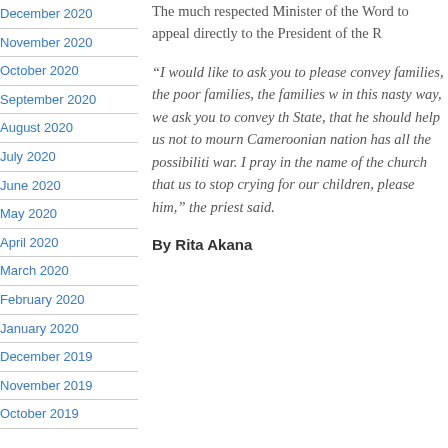December 2020
November 2020
October 2020
September 2020
August 2020
July 2020
June 2020
May 2020
April 2020
March 2020
February 2020
January 2020
December 2019
November 2019
October 2019
The much respected Minister of the Word... to appeal directly to the President of the R...
“I would like to ask you to please convey families, the poor families, the families w... in this nasty way, we ask you to convey th... State, that he should help us not to mourn... Cameroonian nation has all the possibilit... war. I pray in the name of the church that... us to stop crying for our children, please... him,” the priest said.
By Rita Akana